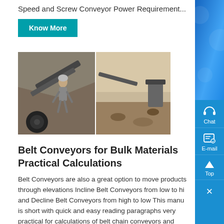Speed and Screw Conveyor Power Requirement...
Know More
[Figure (photo): Worker operating belt conveyor equipment outdoors, industrial site]
Belt Conveyors for Bulk Materials Practical Calculations
Belt Conveyors are also a great option to move products through elevations Incline Belt Conveyors from low to hi and Decline Belt Conveyors from high to low This manu is short with quick and easy reading paragraphs very practical for calculations of belt chain conveyors and mechanical miscellaneous in the metric and imperial